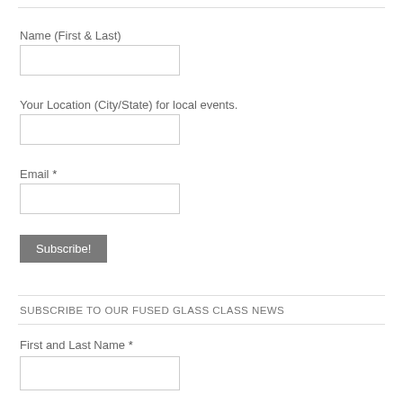Name (First & Last)
[Figure (other): Text input field for Name (First & Last)]
Your Location (City/State) for local events.
[Figure (other): Text input field for Your Location (City/State) for local events.]
Email *
[Figure (other): Text input field for Email]
[Figure (other): Subscribe! button]
SUBSCRIBE TO OUR FUSED GLASS CLASS NEWS
First and Last Name *
[Figure (other): Text input field for First and Last Name]